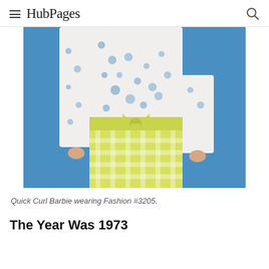HubPages
[Figure (photo): Close-up photo of a Barbie doll torso wearing a white eyelet lace top and yellow-green gingham skirt with a yellow-green bow belt, posed against a blue background.]
Quick Curl Barbie wearing Fashion #3205.
The Year Was 1973